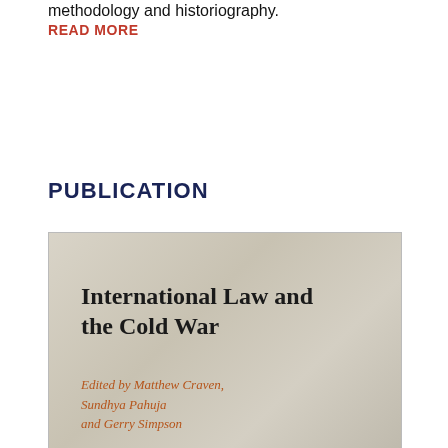methodology and historiography.
READ MORE
PUBLICATION
[Figure (photo): Book cover of 'International Law and the Cold War', edited by Matthew Craven, Sundhya Pahuja and Gerry Simpson]